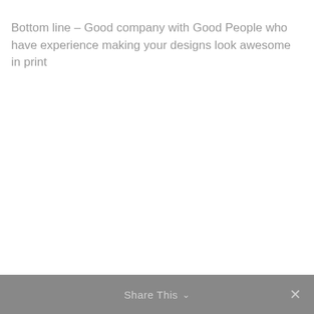Bottom line – Good company with Good People who have experience making your designs look awesome in print
Share This ∨  ✕